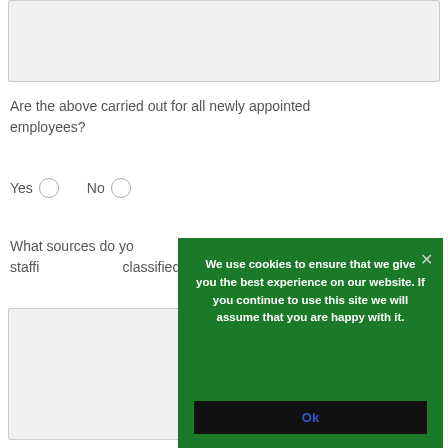[Figure (other): Light grey input/text area box at the top of the page]
Are the above carried out for all newly appointed employees?
Yes   No
What sources do you use to recruit new employees (i.e. staffing agencies, classified advertising...
[Figure (other): Light grey input/text area box at the bottom left]
We use cookies to ensure that we give you the best experience on our website. If you continue to use this site we will assume that you are happy with it.
Ok